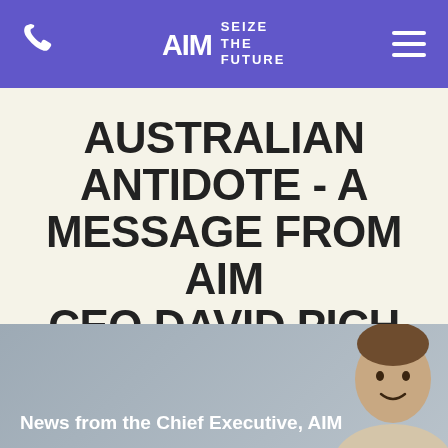AIM SEIZE THE FUTURE
AUSTRALIAN ANTIDOTE - A MESSAGE FROM AIM CEO DAVID PICH
Date: Wednesday, October 21, 2015
[Figure (photo): Grey banner with headshot photo of a smiling man, with text 'News from the Chief Executive, AIM']